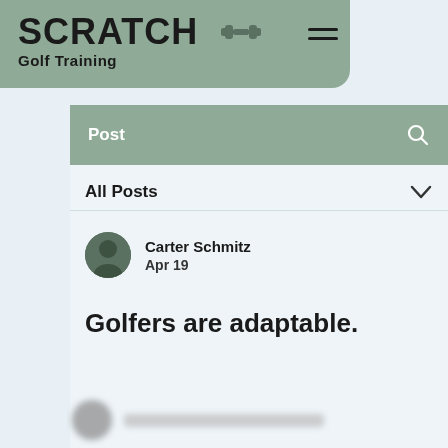SCRATCH Golf Training
Post
All Posts
Carter Schmitz
Apr 19
Golfers are adaptable.